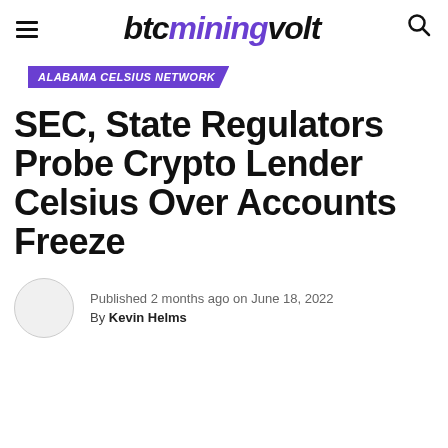btcminingvolt
ALABAMA CELSIUS NETWORK
SEC, State Regulators Probe Crypto Lender Celsius Over Accounts Freeze
Published 2 months ago on June 18, 2022
By Kevin Helms